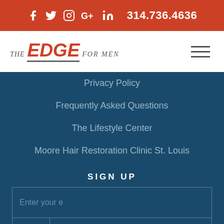f  tw  cam  G+  in  314.736.4636
[Figure (logo): The Edge For Men logo with hamburger menu icon]
Privacy Policy
Frequently Asked Questions
The Lifestyle Center
Moore Hair Restoration Clinic St. Louis
SIGN UP
Enter your e
First